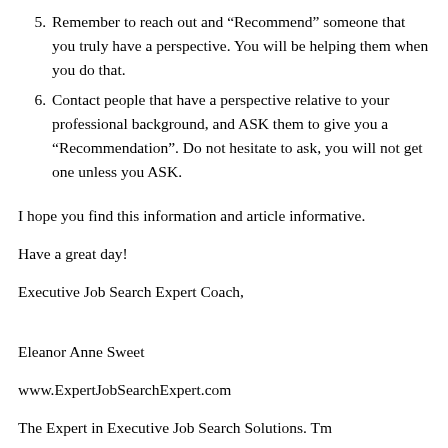5. Remember to reach out and “Recommend” someone that you truly have a perspective. You will be helping them when you do that.
6. Contact people that have a perspective relative to your professional background, and ASK them to give you a “Recommendation”. Do not hesitate to ask, you will not get one unless you ASK.
I hope you find this information and article informative.
Have a great day!
Executive Job Search Expert Coach,
Eleanor Anne Sweet
www.ExpertJobSearchExpert.com
The Expert in Executive Job Search Solutions. Tm